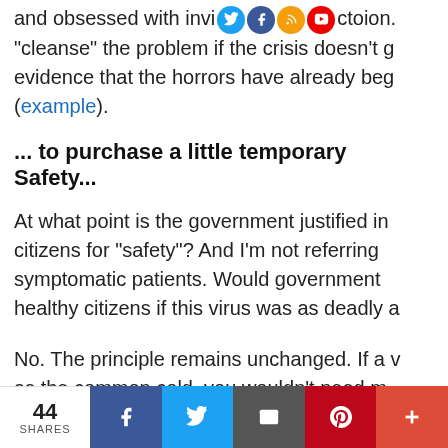and obsessed with invisible contamination. "cleanse" the problem if the crisis doesn't g... evidence that the horrors have already beg... (example).
... to purchase a little temporary Safety...
At what point is the government justified in citizens for "safety"? And I'm not referring symptomatic patients. Would government healthy citizens if this virus was as deadly a
No. The principle remains unchanged. If a v as the common cold, you wouldn't need m
44 SHARES | Facebook | Twitter | Email | Pinterest | +